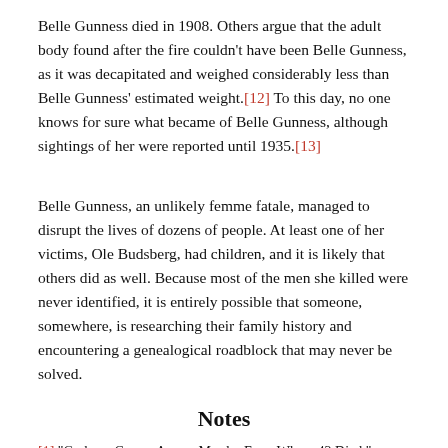Belle Gunness died in 1908. Others argue that the adult body found after the fire couldn't have been Belle Gunness, as it was decapitated and weighed considerably less than Belle Gunness' estimated weight.[12] To this day, no one knows for sure what became of Belle Gunness, although sightings of her were reported until 1935.[13]
Belle Gunness, an unlikely femme fatale, managed to disrupt the lives of dozens of people. At least one of her victims, Ole Budsberg, had children, and it is likely that others did as well. Because most of the men she killed were never identified, it is entirely possible that someone, somewhere, is researching their family history and encountering a genealogical roadblock that may never be solved.
Notes
[1] "Garbage Creeps Across Murder Farm Where 42 Died,"